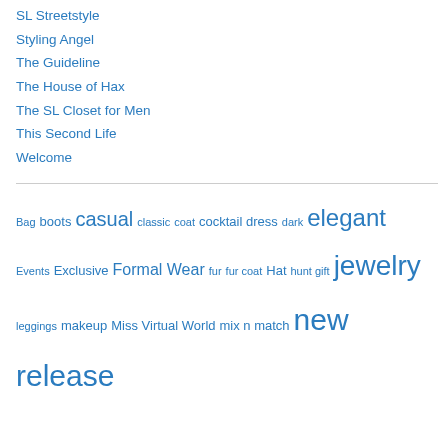SL Streetstyle
Styling Angel
The Guideline
The House of Hax
The SL Closet for Men
This Second Life
Welcome
[Figure (infographic): Tag cloud with fashion-related tags in varying sizes indicating frequency/importance. Tags include: Bag, boots, casual, classic, coat, cocktail dress, dark, elegant, Events, Exclusive, Formal Wear, fur, fur coat, Hat, hunt gift, jewelry, leggings, makeup, Miss Virtual World, mix n match, new release, new store, Skin, SL fashion show, SL model, Spring fashion, Summer fashion, Sunglasses, Uncategorized, winter fashion]